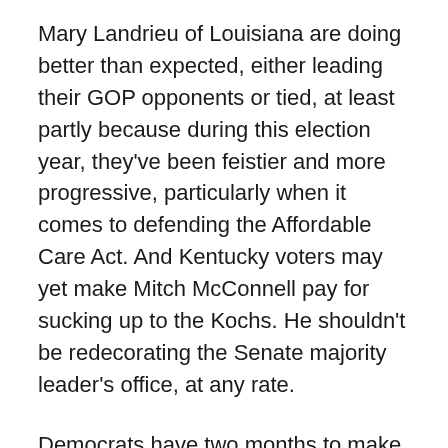Mary Landrieu of Louisiana are doing better than expected, either leading their GOP opponents or tied, at least partly because during this election year, they've been feistier and more progressive, particularly when it comes to defending the Affordable Care Act. And Kentucky voters may yet make Mitch McConnell pay for sucking up to the Kochs. He shouldn't be redecorating the Senate majority leader's office, at any rate.
Democrats have two months to make sure this election doesn't turn out like 2010 did. It's not about the president right now, and we shouldn't wait until 2016 for a new magical president. The kind of thoroughgoing change we need won't happen in eight years, or even 80. It's an eternal battle, the constant effort to expand the realm of human freedom to everyone, against the constant crusade by those that power, that the province of human...